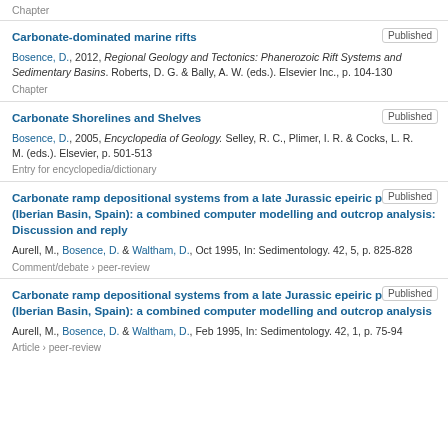Chapter
Carbonate-dominated marine rifts
Bosence, D., 2012, Regional Geology and Tectonics: Phanerozoic Rift Systems and Sedimentary Basins. Roberts, D. G. & Bally, A. W. (eds.). Elsevier Inc., p. 104-130
Chapter
Carbonate Shorelines and Shelves
Bosence, D., 2005, Encyclopedia of Geology. Selley, R. C., Plimer, I. R. & Cocks, L. R. M. (eds.). Elsevier, p. 501-513
Entry for encyclopedia/dictionary
Carbonate ramp depositional systems from a late Jurassic epeiric platform (Iberian Basin, Spain): a combined computer modelling and outcrop analysis: Discussion and reply
Aurell, M., Bosence, D. & Waltham, D., Oct 1995, In: Sedimentology. 42, 5, p. 825-828
Comment/debate › peer-review
Carbonate ramp depositional systems from a late Jurassic epeiric platform (Iberian Basin, Spain): a combined computer modelling and outcrop analysis
Aurell, M., Bosence, D. & Waltham, D., Feb 1995, In: Sedimentology. 42, 1, p. 75-94
Article › peer-review